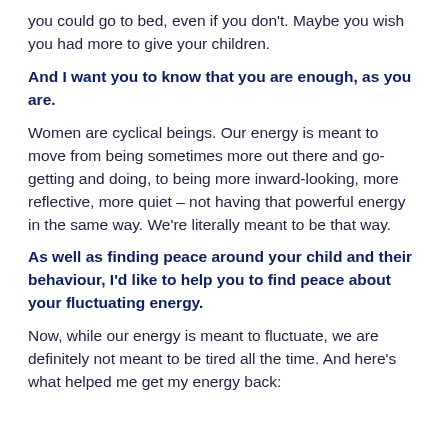you could go to bed, even if you don't. Maybe you wish you had more to give your children.
And I want you to know that you are enough, as you are.
Women are cyclical beings. Our energy is meant to move from being sometimes more out there and go-getting and doing, to being more inward-looking, more reflective, more quiet – not having that powerful energy in the same way. We're literally meant to be that way.
As well as finding peace around your child and their behaviour, I'd like to help you to find peace about your fluctuating energy.
Now, while our energy is meant to fluctuate, we are definitely not meant to be tired all the time. And here's what helped me get my energy back: